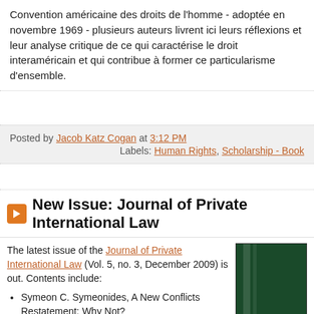Convention américaine des droits de l'homme - adoptée en novembre 1969 - plusieurs auteurs livrent ici leurs réflexions et leur analyse critique de ce qui caractérise le droit interaméricain et qui contribue à former ce particularisme d'ensemble.
Posted by Jacob Katz Cogan at 3:12 PM
Labels: Human Rights, Scholarship - Book
New Issue: Journal of Private International Law
The latest issue of the Journal of Private International Law (Vol. 5, no. 3, December 2009) is out. Contents include:
[Figure (photo): Cover of Journal of Private International Law, dark green with gold text]
Symeon C. Symeonides, A New Conflicts Restatement: Why Not?
Ardavan Arzandeh & Jonathan Hill, Ascertaining the Proper Law of an Arbitration Clause under English Law
Michael Hellner, Third Country Overriding Mandatory Rules in the Rome I Regulation: Old Wine in New Bottles?
Richard Garnett & Megan Richardson, Libel Tourism or Just Redress? Reconciling the (English) Right to Reputation with the